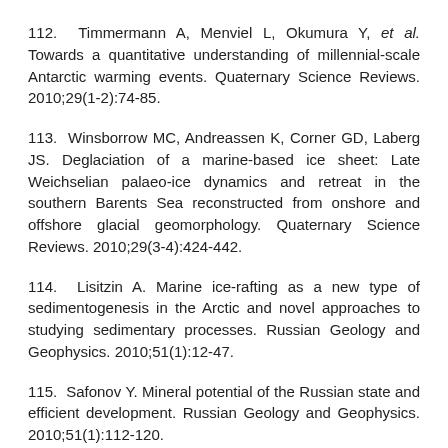112. Timmermann A, Menviel L, Okumura Y, et al. Towards a quantitative understanding of millennial-scale Antarctic warming events. Quaternary Science Reviews. 2010;29(1-2):74-85.
113. Winsborrow MC, Andreassen K, Corner GD, Laberg JS. Deglaciation of a marine-based ice sheet: Late Weichselian palaeo-ice dynamics and retreat in the southern Barents Sea reconstructed from onshore and offshore glacial geomorphology. Quaternary Science Reviews. 2010;29(3-4):424-442.
114. Lisitzin A. Marine ice-rafting as a new type of sedimentogenesis in the Arctic and novel approaches to studying sedimentary processes. Russian Geology and Geophysics. 2010;51(1):12-47.
115. Safonov Y. Mineral potential of the Russian state and efficient development. Russian Geology and Geophysics. 2010;51(1):112-120.